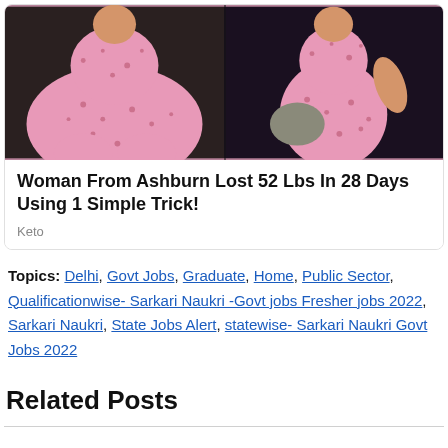[Figure (photo): Advertisement showing two side-by-side images of a woman in pink spotted outfit, used for a weight loss ad.]
Woman From Ashburn Lost 52 Lbs In 28 Days Using 1 Simple Trick!
Keto
Topics: Delhi, Govt Jobs, Graduate, Home, Public Sector, Qualificationwise- Sarkari Naukri -Govt jobs Fresher jobs 2022, Sarkari Naukri, State Jobs Alert, statewise- Sarkari Naukri Govt Jobs 2022
Related Posts